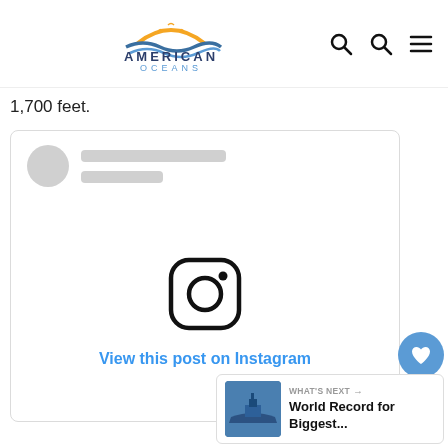American Oceans
1,700 feet.
[Figure (screenshot): Embedded Instagram post card showing loading placeholder (avatar circle and grey lines), Instagram logo icon in center, and 'View this post on Instagram' link in blue text]
WHAT'S NEXT → World Record for Biggest...